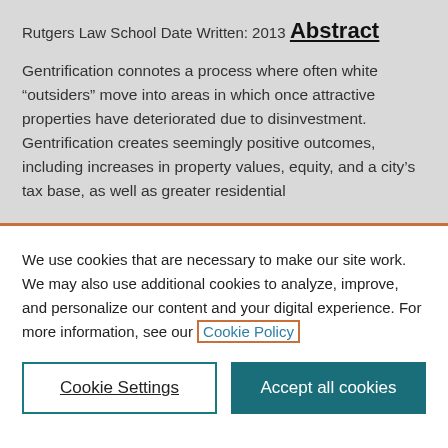Rutgers Law School
Date Written: 2013
Abstract
Gentrification connotes a process where often white “outsiders” move into areas in which once attractive properties have deteriorated due to disinvestment. Gentrification creates seemingly positive outcomes, including increases in property values, equity, and a city’s tax base, as well as greater residential
We use cookies that are necessary to make our site work. We may also use additional cookies to analyze, improve, and personalize our content and your digital experience. For more information, see our Cookie Policy
Cookie Settings
Accept all cookies